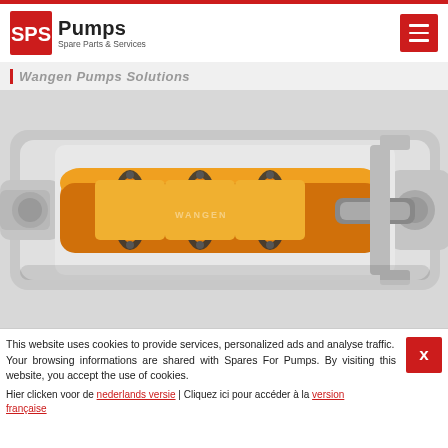SPS Pumps — Spare Parts & Services
Wangen Pumps Solutions
[Figure (photo): 3D cutaway rendering of an orange/yellow peristaltic or progressive cavity pump inside a grey housing, showing internal rotor, stator, and mechanical components]
This website uses cookies to provide services, personalized ads and analyse traffic.
Your browsing informations are shared with Spares For Pumps. By visiting this website, you accept the use of cookies.
Hier clicken voor de nederlands versie | Cliquez ici pour accéder à la version française